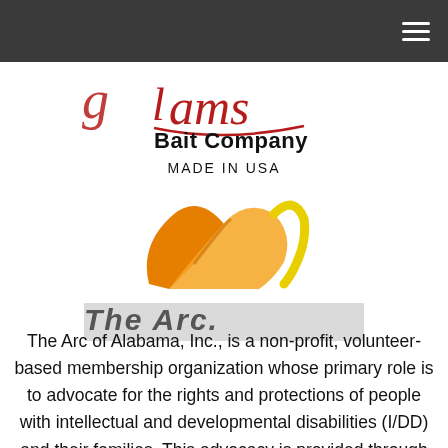[Figure (logo): Lams Bait Company MADE IN USA logo with cursive red script and bold black text]
[Figure (logo): The Arc logo - stylized orange/yellow swoosh letter A with The Arc. text on grey banner]
The Arc of Alabama, Inc., is a non-profit, volunteer-based membership organization whose primary role is to advocate for the rights and protections of people with intellectual and developmental disabilities (I/DD) and their families. This advocacy is provided through Information and Referral services, educational opportunities like the annual Alabama disAbility Conference, and public policy initiatives.